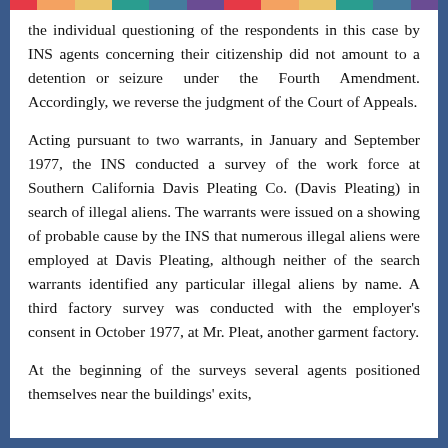the individual questioning of the respondents in this case by INS agents concerning their citizenship did not amount to a detention or seizure under the Fourth Amendment. Accordingly, we reverse the judgment of the Court of Appeals.
Acting pursuant to two warrants, in January and September 1977, the INS conducted a survey of the work force at Southern California Davis Pleating Co. (Davis Pleating) in search of illegal aliens. The warrants were issued on a showing of probable cause by the INS that numerous illegal aliens were employed at Davis Pleating, although neither of the search warrants identified any particular illegal aliens by name. A third factory survey was conducted with the employer's consent in October 1977, at Mr. Pleat, another garment factory.
At the beginning of the surveys several agents positioned themselves near the buildings' exits, while others...